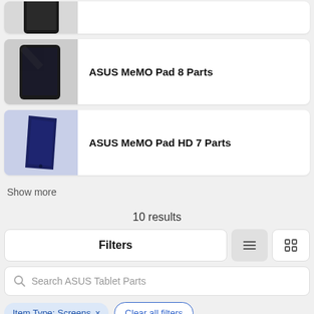[Figure (photo): Partial view of a tablet device, cropped at top]
ASUS MeMO Pad 8 Parts
ASUS MeMO Pad HD 7 Parts
Show more
10 results
Filters
Search ASUS Tablet Parts
Item Type: Screens × Clear all filters